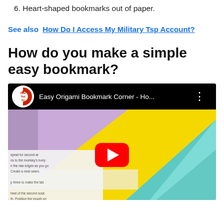6. Heart-shaped bookmarks out of paper.
See also  How Do I Access My Military Tsp Account?
How do you make a simple easy bookmark?
[Figure (screenshot): YouTube video thumbnail for 'Easy Origami Bookmark Corner - Ho...' by Red Ted Art, showing two origami corner bookmarks (one purple/lavender, one teal/mint) on a yellow background, with a red YouTube play button in the center.]